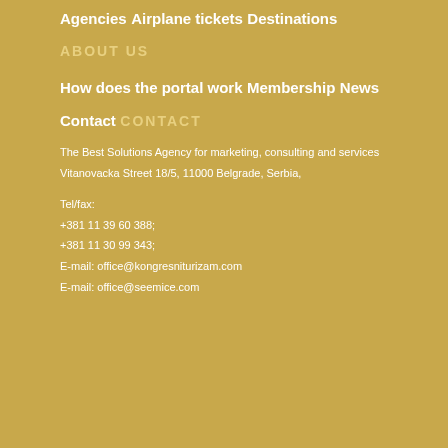Agencies
Airplane tickets
Destinations
ABOUT US
How does the portal work
Membership
News
Contact
CONTACT
The Best Solutions Agency for marketing, consulting and services
Vitanovacka Street 18/5, 11000 Belgrade, Serbia,
Tel/fax:
+381 11 39 60 388;
+381 11 30 99 343;
E-mail: office@kongresniturizam.com
E-mail: office@seemice.com